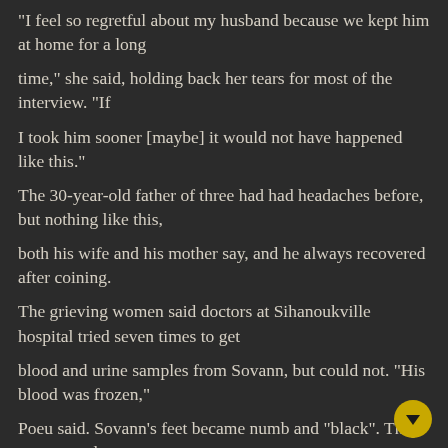"I feel so regretful about my husband because we kept him at home for a long time," she said, holding back her tears for most of the interview. "If I took him sooner [maybe] it would not have happened like this."
The 30-year-old father of three had had headaches before, but nothing like this,
both his wife and his mother say, and he always recovered after coining.
The grieving women said doctors at Sihanoukville hospital tried seven times to get
blood and urine samples from Sovann, but could not. "His blood was frozen,"
Poeu said. Sovann's feet became numb and "black". They say every doctor
there told them that Sovann had been poisoned.